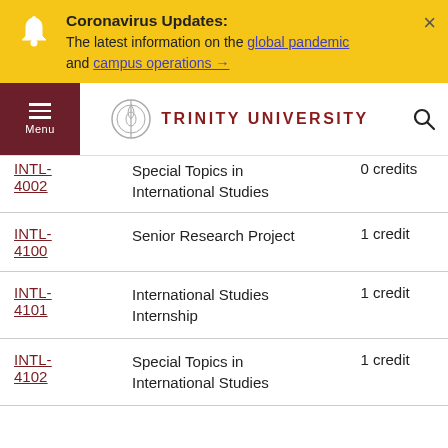Coronavirus Updates: The latest information on the global pandemic and campus operations →
TRINITY UNIVERSITY
| Course | Title | Credits |
| --- | --- | --- |
| INTL-4002 | Special Topics in International Studies | 0 credits |
| INTL-4100 | Senior Research Project | 1 credit |
| INTL-4101 | International Studies Internship | 1 credit |
| INTL-4102 | Special Topics in International Studies | 1 credit |